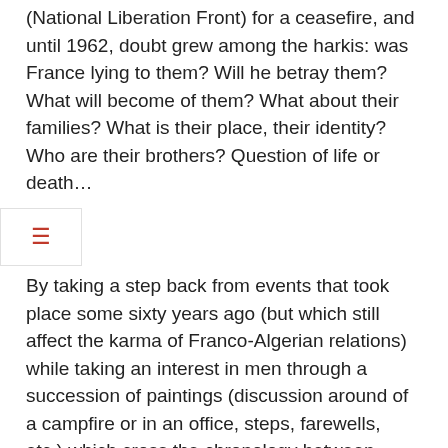(National Liberation Front) for a ceasefire, and until 1962, doubt grew among the harkis: was France lying to them? Will he betray them? What will become of them? What about their families? What is their place, their identity? Who are their brothers? Question of life or death…
By taking a step back from events that took place some sixty years ago (but which still affect the karma of Franco-Algerian relations) while taking an interest in men through a succession of paintings (discussion around of a campfire or in an office, steps, farewells, etc.) which cross the chronology between 1959 and 1962, Philippe Faucon succeeds in perfectly illustrating all the complexity of a page of history where lies and honor, confidence and realpolitik, are tearing consciences apart. A cry, a stab, a census, a convoy, a helicopter, clandestine movements, bad feelings: in a few almost pointillist cinematographic strokes of the scalpel (the result of his great mastery of simplicity), the filmmaker creates a work of compact and fascinating fiction, voluntarily anti-spectacular and formally very successful, which is a worthy setting for a page of history which led